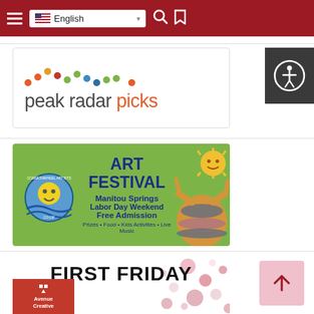Navigation bar with hamburger menu, English language selector, search icon, and bookmark icon
[Figure (logo): Peak Radar Picks logo with colorful bar-chart style dots above text reading 'peak radar picks' where 'picks' is in orange]
[Figure (illustration): Commonwheel Artists Co-op Art Festival banner with green background. Text: ART FESTIVAL, Manitou Springs, Labor Day Weekend, Free Admission, Prizes • Food • Kids Activities • Live Music. Features sun logo on left and illustrated figure on right.]
[Figure (photo): First Friday event banner with 'FIRST FRIDAY' text over a scattered beads/jewelry photo background, with Avenue Creative logo block in lower left corner]